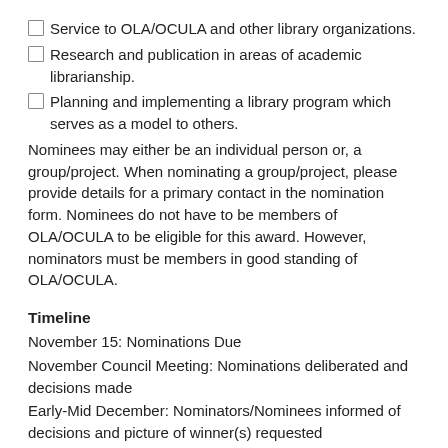Service to OLA/OCULA and other library organizations.
Research and publication in areas of academic librarianship.
Planning and implementing a library program which serves as a model to others.
Nominees may either be an individual person or, a group/project. When nominating a group/project, please provide details for a primary contact in the nomination form. Nominees do not have to be members of OLA/OCULA to be eligible for this award. However, nominators must be members in good standing of OLA/OCULA.
Timeline
November 15: Nominations Due
November Council Meeting: Nominations deliberated and decisions made
Early-Mid December: Nominators/Nominees informed of decisions and picture of winner(s) requested
Early-Mid January: Final award presentation details known and provided to Nominators/Nominees